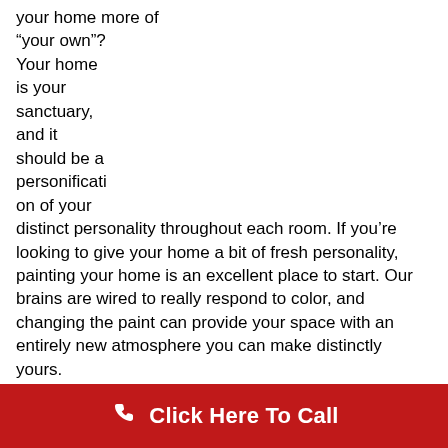your home more of “your own”? Your home is your sanctuary, and it should be a personification of your distinct personality throughout each room. If you’re looking to give your home a bit of fresh personality, painting your home is an excellent place to start. Our brains are wired to really respond to color, and changing the paint can provide your space with an entirely new atmosphere you can make distinctly yours.

Often, there is a certain mood we want to set in different rooms of the home. You’ll want your dining room and kitchen to provide warmth and friendliness while also increasing your appetite, you may want your living room to be a serene and relaxing place, your bedroom cozy and
Click Here To Call